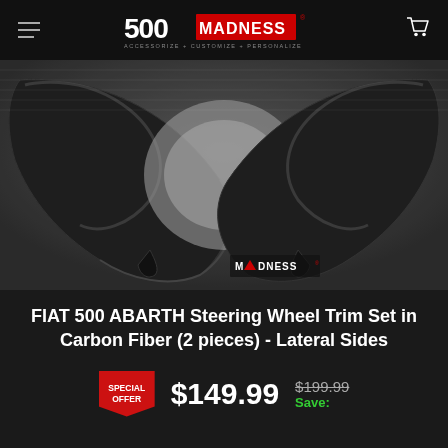500 MADNESS - ACCESSORIZE + CUSTOMIZE + PERSONALIZE
[Figure (photo): Carbon fiber steering wheel trim pieces for FIAT 500 ABARTH, showing two curved black carbon fiber lateral side trim pieces against a dark background, with MADNESS logo watermark]
FIAT 500 ABARTH Steering Wheel Trim Set in Carbon Fiber (2 pieces) - Lateral Sides
SPECIAL OFFER $149.99 $199.99 Save: